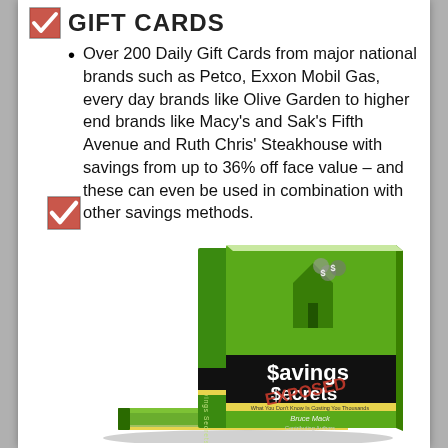GIFT CARDS
Over 200 Daily Gift Cards from major national brands such as Petco, Exxon Mobil Gas, every day brands like Olive Garden to higher end brands like Macy's and Sak's Fifth Avenue and Ruth Chris' Steakhouse with savings from up to 36% off face value – and these can even be used in combination with other savings methods.
[Figure (photo): Book cover of 'Savings Secrets Exposed' by Bruce Mack — a green hardcover book with dollar sign and house graphic, stacked with other copies]